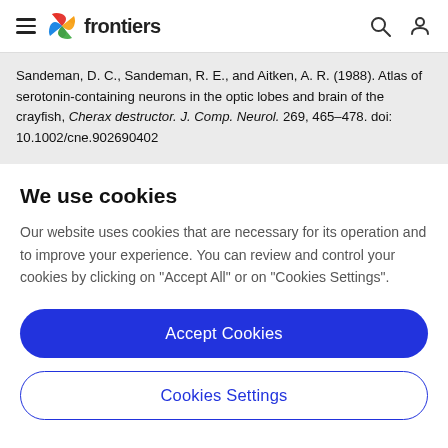frontiers
Sandeman, D. C., Sandeman, R. E., and Aitken, A. R. (1988). Atlas of serotonin-containing neurons in the optic lobes and brain of the crayfish, Cherax destructor. J. Comp. Neurol. 269, 465–478. doi: 10.1002/cne.902690402
We use cookies
Our website uses cookies that are necessary for its operation and to improve your experience. You can review and control your cookies by clicking on "Accept All" or on "Cookies Settings".
Accept Cookies
Cookies Settings